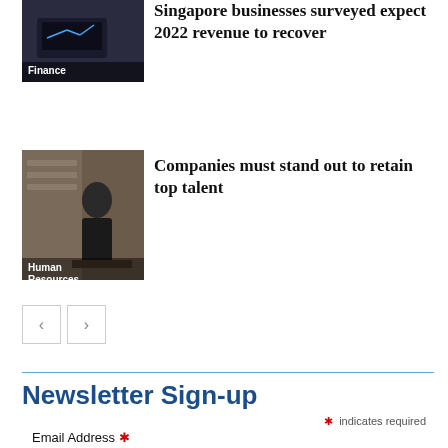[Figure (photo): Dark image of laptop/finance related scene with 'Finance' label overlay]
Singapore businesses surveyed expect 2022 revenue to recover
[Figure (photo): Person at a desk in an office/shop setting with 'Human Resources' label overlay]
Companies must stand out to retain top talent
Pagination navigation with left and right arrow buttons
Newsletter Sign-up
* indicates required
Email Address *